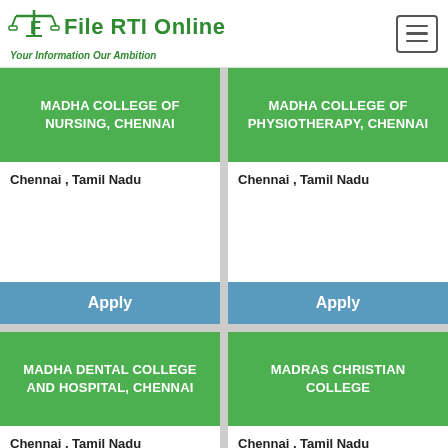File RTI Online — Your Information Our Ambition
MADHA COLLEGE OF NURSING, CHENNAI
Chennai , Tamil Nadu
MADHA COLLEGE OF PHYSIOTHERAPY, CHENNAI
Chennai , Tamil Nadu
MADHA DENTAL COLLEGE AND HOSPITAL, CHENNAI
Chennai , Tamil Nadu
MADRAS CHRISTIAN COLLEGE
Chennai , Tamil Nadu